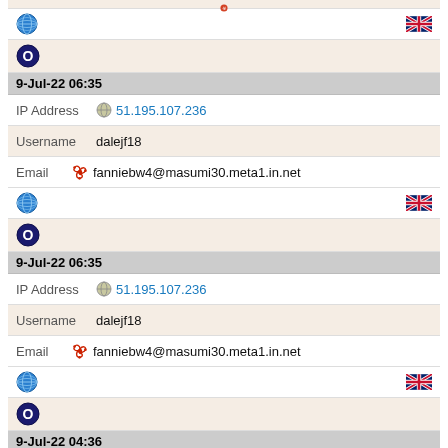| [globe icon] | [UK flag icon] |
| [O icon] |  |
| 9-Jul-22 06:35 |  |
| IP Address | 51.195.107.236 |
| Username | dalejf18 |
| Email | fanniebw4@masumi30.meta1.in.net |
| [globe icon] | [UK flag icon] |
| [O icon] |  |
| 9-Jul-22 06:35 |  |
| IP Address | 51.195.107.236 |
| Username | dalejf18 |
| Email | fanniebw4@masumi30.meta1.in.net |
| [globe icon] | [UK flag icon] |
| [O icon] |  |
| 9-Jul-22 04:36 |  |
| IP Address | 51.195.107.236 |
| Username | dalejf18 |